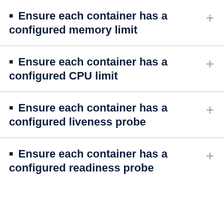Ensure each container has a configured memory limit
Ensure each container has a configured CPU limit
Ensure each container has a configured liveness probe
Ensure each container has a configured readiness probe